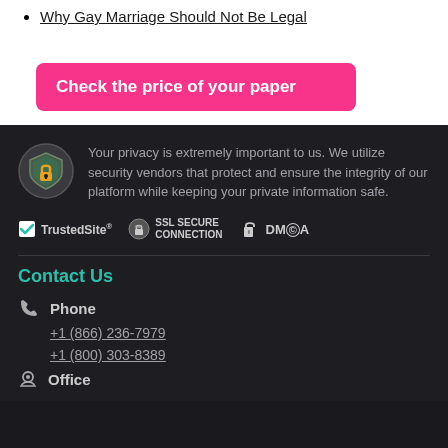Why Gay Marriage Should Not Be Legal
Check the price of your paper
Your privacy is extremely important to us. We utilize security vendors that protect and ensure the integrity of our platform while keeping your private information safe.
[Figure (logo): TrustedSite, SSL SECURE CONNECTION, and DMCA trust badges]
Contact Us
Phone
+1 (866) 236-7979
+1 (800) 303-8389
Office